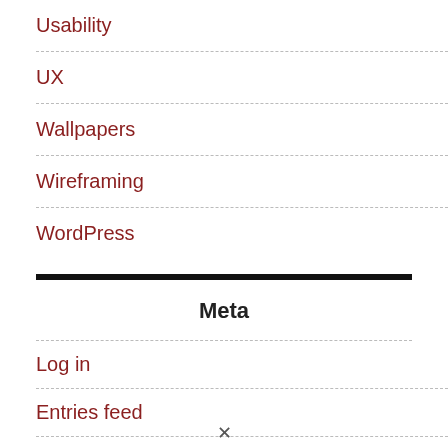Usability
UX
Wallpapers
Wireframing
WordPress
Work
Meta
Log in
Entries feed